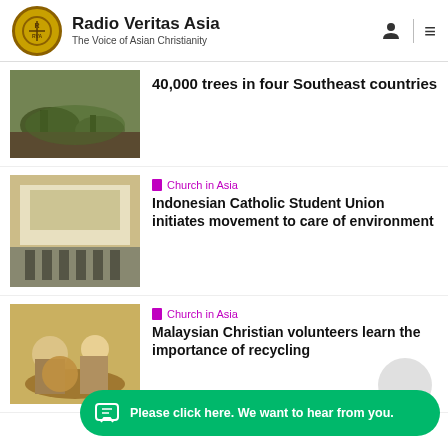Radio Veritas Asia — The Voice of Asian Christianity
40,000 trees in four Southeast countries
[Figure (photo): Photo of hands planting trees in soil]
Church in Asia
Indonesian Catholic Student Union initiates movement to care of environment
[Figure (photo): Photo of group of students standing in front of a banner at an indoor event]
Church in Asia
Malaysian Christian volunteers learn the importance of recycling
[Figure (photo): Photo of volunteers working with baskets and recycling items]
Please click here. We want to hear from you.